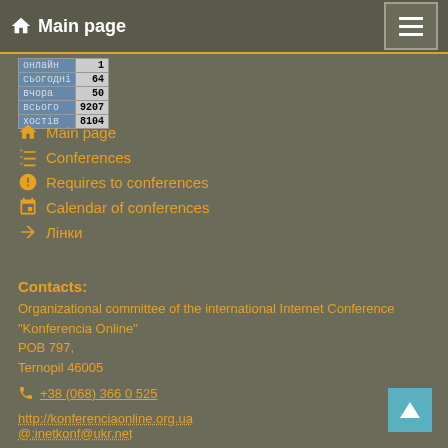Main page
|  |  |
| --- | --- |
| онлайн | 1 |
| сьогодні | 64 |
| вчора | 50 |
| всього | 9207 |
| хостів | 8104 |
Main page
Conferences
Requires to conferences
Calendar of conferences
Лінки
Contacts:
Organizational committee of the international Internet Conference "Konferencia Online"
РОВ 797,
Ternopil 46005
+38 (068) 366 0 525
http://konferenciaonline.org.ua
@:inetkonf@ukr.net